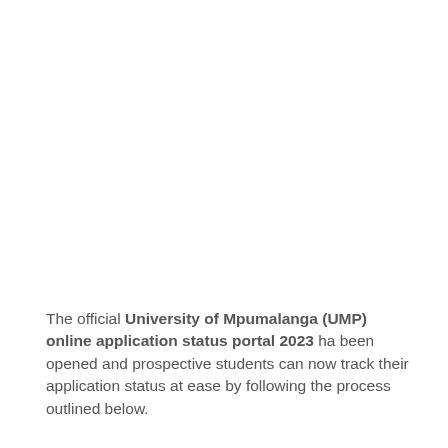The official University of Mpumalanga (UMP) online application status portal 2023 ha been opened and prospective students can now track their application status at ease by following the process outlined below.